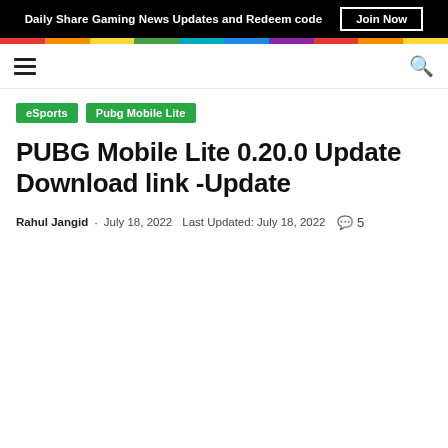Daily Share Gaming News Updates and Redeem code  Join Now
eSports  Pubg Mobile Lite
PUBG Mobile Lite 0.20.0 Update Download link -Update
Rahul Jangid · July 18, 2022  Last Updated: July 18, 2022  💬 5